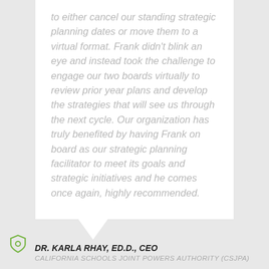to either cancel our standing strategic planning dates or move them to a virtual format. Frank didn't blink an eye and instead took the challenge to engage our two boards virtually to review prior year plans and develop the strategies that will see us through the next cycle. Our organization has truly benefited by having Frank on board as our strategic planning facilitator to meet its goals and strategic initiatives and he comes once again, highly recommended.
DR. KARLA RHAY, ED.D., CEO
CALIFORNIA SCHOOLS JOINT POWERS AUTHORITY (CSJPA)